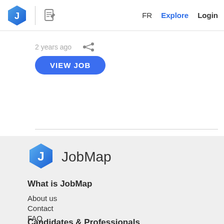FR  Explore  Login
2 years ago
VIEW JOB
[Figure (logo): JobMap hexagon logo with letter J, blue gradient]
JobMap
What is JobMap
About us
Contact
FAQ
Site map
Login
Candidates & Professionals